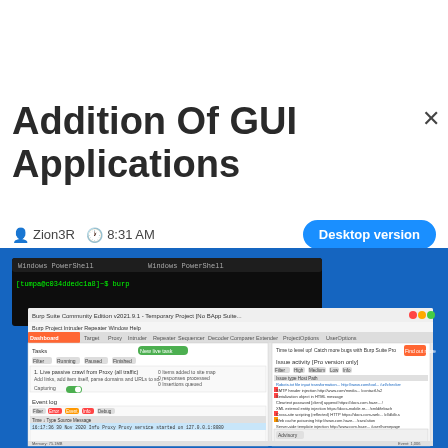Addition Of GUI Applications
Zion3R  8:31 AM
Desktop version
[Figure (screenshot): Screenshot of Burp Suite Community Edition GUI application with Windows PowerShell terminal in background. Shows the Burp Suite dashboard with proxy intercept active, event log panel, and an Issue activity panel listing various vulnerability types.]